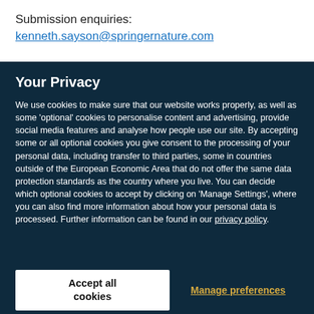Submission enquiries:
kenneth.sayson@springernature.com
Your Privacy
We use cookies to make sure that our website works properly, as well as some 'optional' cookies to personalise content and advertising, provide social media features and analyse how people use our site. By accepting some or all optional cookies you give consent to the processing of your personal data, including transfer to third parties, some in countries outside of the European Economic Area that do not offer the same data protection standards as the country where you live. You can decide which optional cookies to accept by clicking on 'Manage Settings', where you can also find more information about how your personal data is processed. Further information can be found in our privacy policy.
Accept all cookies
Manage preferences